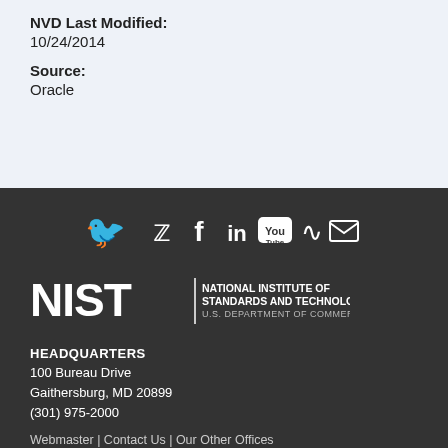NVD Last Modified:
10/24/2014
Source:
Oracle
[Figure (infographic): Social media icons row: Twitter bird, Facebook f, LinkedIn in, YouTube, RSS feed, Email envelope — all white on dark gray background]
[Figure (logo): NIST logo — National Institute of Standards and Technology, U.S. Department of Commerce — white text on dark gray background]
HEADQUARTERS
100 Bureau Drive
Gaithersburg, MD 20899
(301) 975-2000
Webmaster | Contact Us | Our Other Offices
Incident Response Assistance and Non-NVD Related Technical Cyber Security Questions: